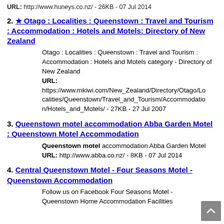URL: http://www.huneys.co.nz/ - 26KB - 07 Jul 2014
2. ★ Otago : Localities : Queenstown : Travel and Tourism : Accommodation : Hotels and Motels: Directory of New Zealand
Otago : Localities : Queenstown : Travel and Tourism : Accommodation : Hotels and Motels category - Directory of New Zealand
URL: https://www.mkiwi.com/New_Zealand/Directory/Otago/Localities/Queenstown/Travel_and_Tourism/Accommodation/Hotels_and_Motels/ - 27KB - 27 Jul 2007
3. Queenstown motel accommodation Abba Garden Motel : Queenstown Motel Accommodation
Queenstown motel accommodation Abba Garden Motel
URL: http://www.abba.co.nz/ - 8KB - 07 Jul 2014
4. Central Queenstown Motel - Four Seasons Motel - Queenstown Accommodation
Follow us on Facebook Four Seasons Motel - Queenstown Home Accommodation Facilities